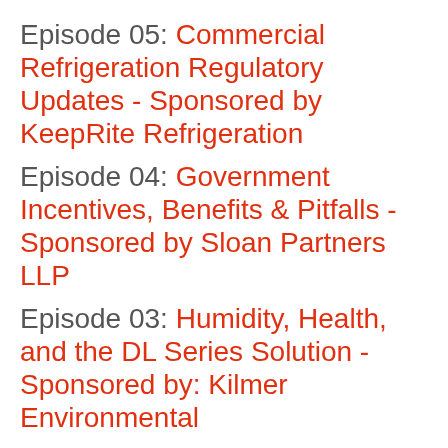Episode 05: Commercial Refrigeration Regulatory Updates - Sponsored by KeepRite Refrigeration
Episode 04: Government Incentives, Benefits & Pitfalls - Sponsored by Sloan Partners LLP
Episode 03: Humidity, Health, and the DL Series Solution - Sponsored by: Kilmer Environmental
Episode 02: Apprentice Intake Updates with Jim McAughey, Brian